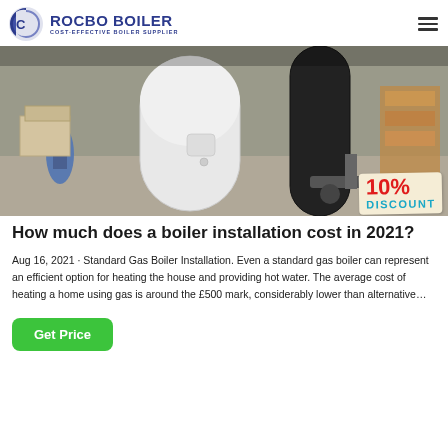ROCBO BOILER — COST-EFFECTIVE BOILER SUPPLIER
[Figure (photo): Warehouse photo showing large white cylindrical boilers with workers and a pallet jack. A '10% DISCOUNT' badge is overlaid in the bottom right corner.]
How much does a boiler installation cost in 2021?
Aug 16, 2021 · Standard Gas Boiler Installation. Even a standard gas boiler can represent an efficient option for heating the house and providing hot water. The average cost of heating a home using gas is around the £500 mark, considerably lower than alternative…
Get Price